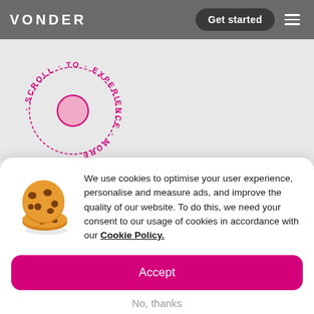VONDER   Get started
[Figure (illustration): Circular text reading 'SCROLL · TO · EXPERIENCE · MORE ·' arranged in a circle with a pink circle in the center, on a grey background]
[Figure (illustration): Cookie emoji illustration showing two chocolate chip cookies]
We use cookies to optimise your user experience, personalise and measure ads, and improve the quality of our website. To do this, we need your consent to our usage of cookies in accordance with our Cookie Policy.
Accept
No, thanks